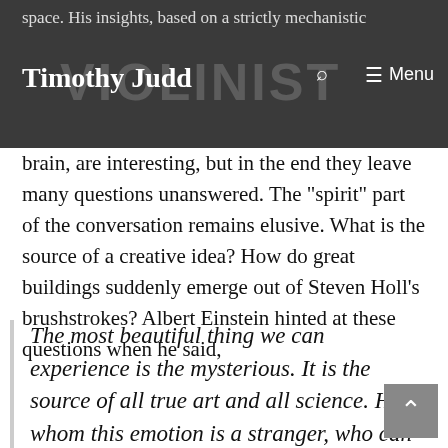Timothy Judd | VIOLINIST | Menu
space. His insights, based on a strictly mechanistic brain, are interesting, but in the end they leave many questions unanswered. The "spirit" part of the conversation remains elusive. What is the source of a creative idea? How do great buildings suddenly emerge out of Steven Holl's brushstrokes? Albert Einstein hinted at these questions when he said,
The most beautiful thing we can experience is the mysterious. It is the source of all true art and all science. He to whom this emotion is a stranger, who can no longer pause to wonder and stand rapt in awe, is as good as dead: